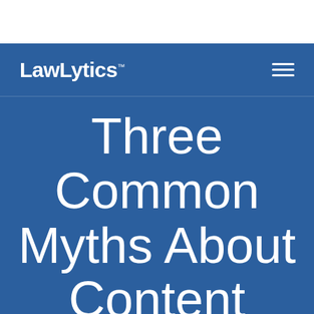LawLytics™
Three Common Myths About Content Marketing &